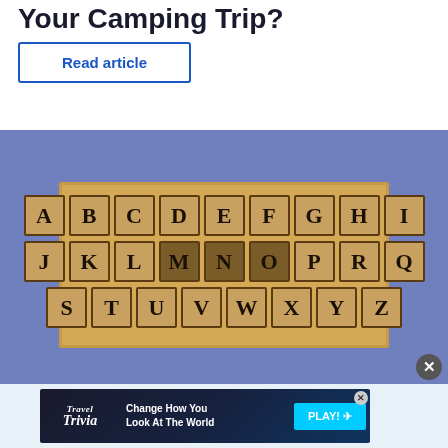Your Camping Trip?
Read article
[Figure (photo): Wooden alphabet stamp blocks arranged in a tray showing letters A-Z in three rows: ABCDEFGHI, JKLMNOPRQ, STUVWXYZ]
[Figure (infographic): Travel Trivia advertisement banner: 'Change How You Look At The World' with PLAY button]